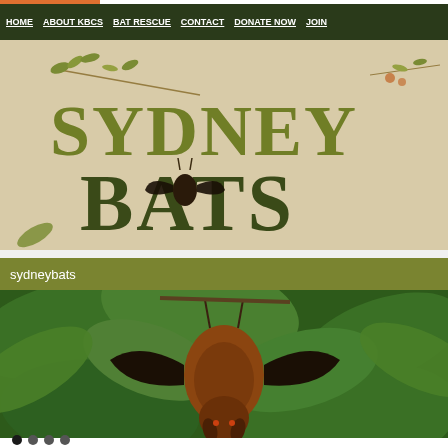HOME | ABOUT KBCS | BAT RESCUE | CONTACT | DONATE NOW | JOIN
[Figure (logo): Sydney Bats logo with decorative nature-themed typography on a tan/parchment background. Large text reads SYDNEY BATS with a hanging bat illustration incorporated into the lettering.]
sydneybats
[Figure (photo): Close-up photograph of a flying fox (fruit bat) hanging upside down among large green leaves. The bat has reddish-brown fur and dark wings folded around its body.]
[Figure (other): Google reCAPTCHA widget showing the circular arrow logo and Privacy - Terms text.]